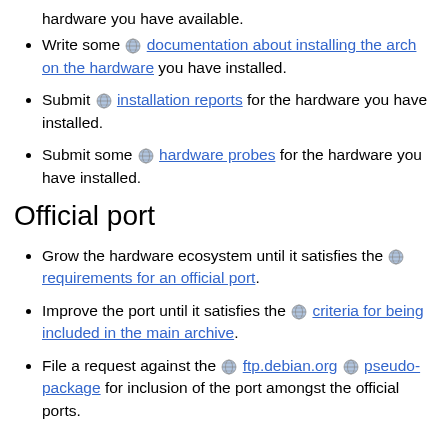hardware you have available.
Write some [globe] documentation about installing the arch on the hardware you have installed.
Submit [globe] installation reports for the hardware you have installed.
Submit some [globe] hardware probes for the hardware you have installed.
Official port
Grow the hardware ecosystem until it satisfies the [globe] requirements for an official port.
Improve the port until it satisfies the [globe] criteria for being included in the main archive.
File a request against the [globe] ftp.debian.org [globe] pseudo-package for inclusion of the port amongst the official ports.